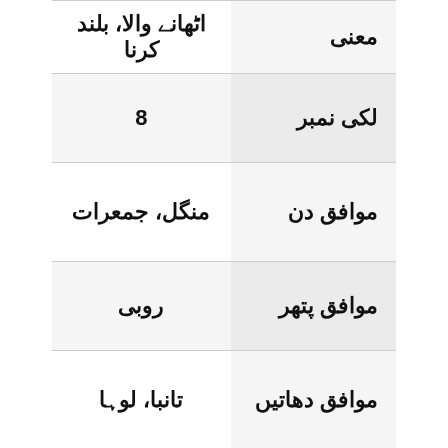| معنی |  |
| --- | --- |
| معنی | اٹھانے والا، بلند کرنا |
| لکی نمبر | 8 |
| موافق دن | منگل، جمعرات |
| موافق پتھر | روبی |
| موافق دھاتیں | تانبا، لوہا |
Meaning Of Abdur Rafi In Hindi: Muslim boy Abdur Rafi means Servant of the One Who Raise in English while the meaning of Abdur Rafi in Hindi & Urdu is Sub se buland karne wale ka bunda. If you want to know meaning of Abdur Rafi in Bengali, Tamil, Malay, Spanish, French, Japanese, Mandarin,